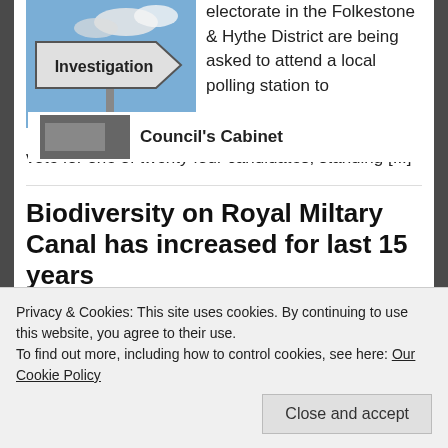[Figure (photo): Sign reading 'Investigation' against a blue sky with clouds]
electorate in the Folkestone & Hythe District are being asked to attend a local polling station to vote for one of twenty four candidates, standing [...]
Biodiversity on Royal Miltary Canal has increased for last 15 years
April 10, 2021 // 6 Comments
Privacy & Cookies: This site uses cookies. By continuing to use this website, you agree to their use.
To find out more, including how to control cookies, see here: Our Cookie Policy
Close and accept
Council's Cabinet